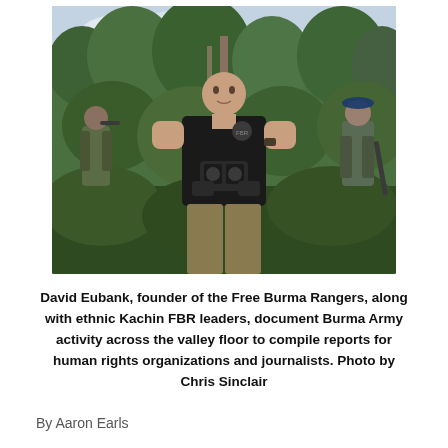[Figure (photo): David Eubank, founder of the Free Burma Rangers, standing in jungle/forest terrain holding binoculars, with ethnic Kachin FBR leaders in camouflage behind him. Photo by Chris Sinclair.]
David Eubank, founder of the Free Burma Rangers, along with ethnic Kachin FBR leaders, document Burma Army activity across the valley floor to compile reports for human rights organizations and journalists. Photo by Chris Sinclair
By Aaron Earls
NASHVILLE, Tenn. — From the bright lights of a New York City film festival to a river running through the jungles of